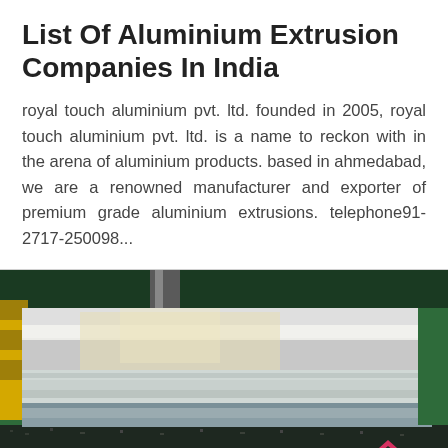List Of Aluminium Extrusion Companies In India
royal touch aluminium pvt. ltd. founded in 2005, royal touch aluminium pvt. ltd. is a name to reckon with in the arena of aluminium products. based in ahmedabad, we are a renowned manufacturer and exporter of premium grade aluminium extrusions. telephone91-2717-250098...
[Figure (photo): Photo of stacked aluminium extrusion sheets on a green surface with a red double chevron arrow icon in the bottom right corner]